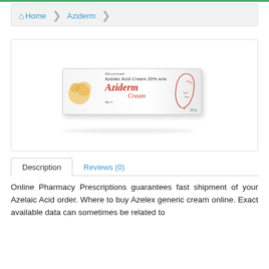Home > Aziderm
[Figure (photo): Product photo of Aziderm Cream box — Micronised Azelaic Acid Cream 20% w/w, 15g tube/box with face illustration]
Description | Reviews (0)
Online Pharmacy Prescriptions guarantees fast shipment of your Azelaic Acid order. Where to buy Azelex generic cream online. Exact available data can sometimes be related to